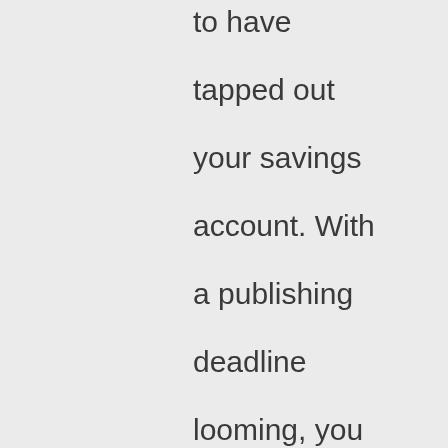to have tapped out your savings account. With a publishing deadline looming, you bundle up in the cold and dark to get to your intended shoot site well before sunrise and sunset for a couple of days to study